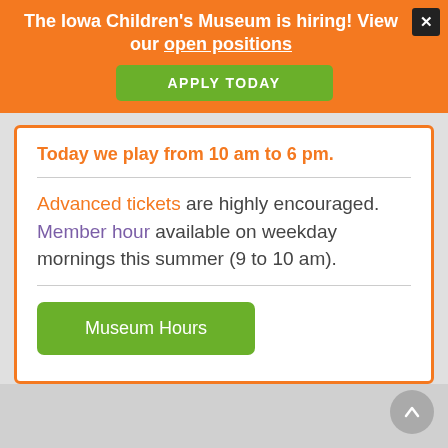The Iowa Children's Museum is hiring! View our open positions
APPLY TODAY
Today we play from 10 am to 6 pm.
Advanced tickets are highly encouraged. Member hour available on weekday mornings this summer (9 to 10 am).
Museum Hours